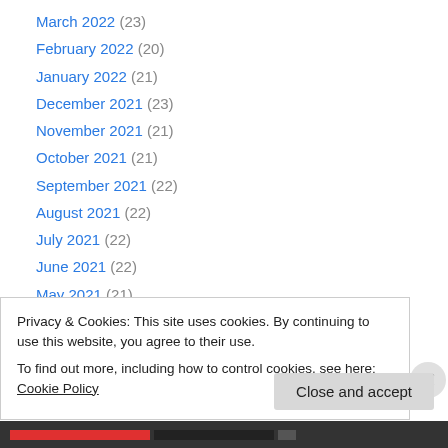March 2022 (23)
February 2022 (20)
January 2022 (21)
December 2021 (23)
November 2021 (21)
October 2021 (21)
September 2021 (22)
August 2021 (22)
July 2021 (22)
June 2021 (22)
May 2021 (21)
April 2021 (22)
March 2021 (23)
Privacy & Cookies: This site uses cookies. By continuing to use this website, you agree to their use. To find out more, including how to control cookies, see here: Cookie Policy
Close and accept